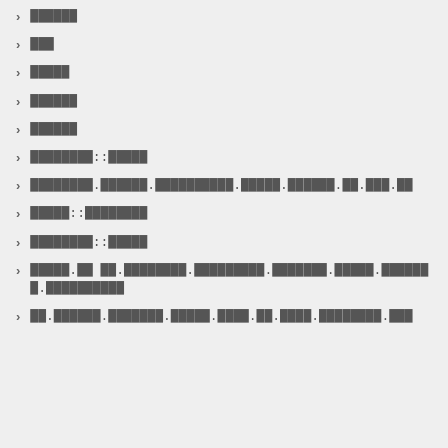██████
███
█████
██████
██████
████████::█████
████████.██████.██████████.█████.██████.██.███.██
█████::████████
████████::█████
█████.██ ██.████████.█████████.███████.█████.███████.██████████
██.██████.███████.█████.████.██.████.████████.███